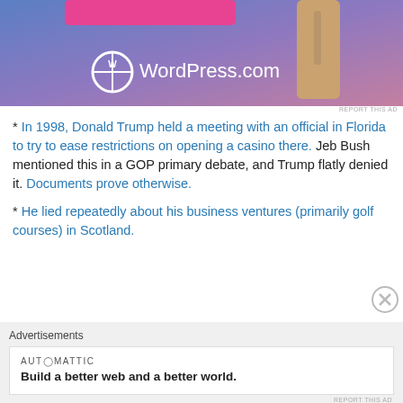[Figure (photo): WordPress.com advertisement banner with blue-pink gradient background, pink button, tan/gold vertical element, and WordPress.com logo/text]
* In 1998, Donald Trump held a meeting with an official in Florida to try to ease restrictions on opening a casino there. Jeb Bush mentioned this in a GOP primary debate, and Trump flatly denied it. Documents prove otherwise.
* He lied repeatedly about his business ventures (primarily golf courses) in Scotland.
[Figure (screenshot): Automattic advertisement: AUT◎MATTIC - Build a better web and a better world.]